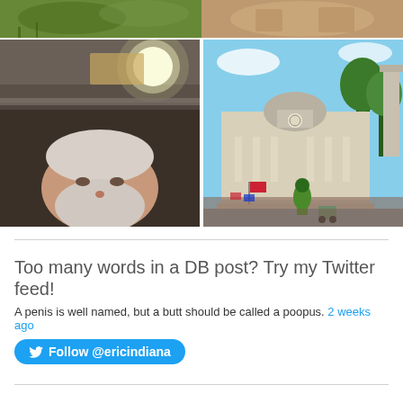[Figure (photo): Top row left: close-up photo of green plants/foliage]
[Figure (photo): Top row right: close-up photo, warm tones, appears to be hands or similar]
[Figure (photo): Main left photo: man with grey beard taking selfie under bridge/concrete structure with bright light]
[Figure (photo): Main right photo: outdoor parade scene with courthouse/capitol building in background, person in green costume]
Too many words in a DB post? Try my Twitter feed!
A penis is well named, but a butt should be called a poopus. 2 weeks ago
Follow @ericindiana
Occupy Movement